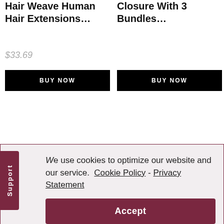Hair Weave Human Hair Extensions…
$33.69
BUY NOW
Closure With 3 Bundles…
BUY NOW
[Figure (photo): Hair product images showing body wave bundles with closure]
[Figure (photo): Hair product images showing VRBest Hair bundles]
We use cookies to optimize our website and our service.  Cookie Policy - Privacy Statement
Accept
Body Wave Bundles With
VRBest Hair 10A Unprocessed